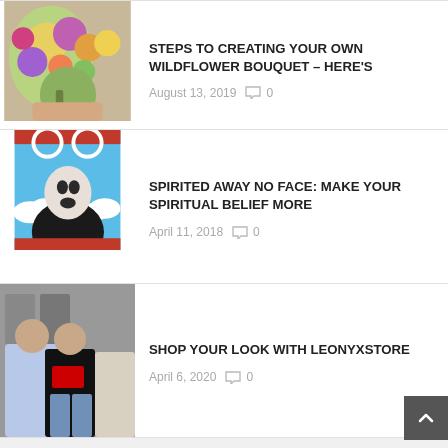[Figure (photo): Wildflower bouquet photo thumbnail]
STEPS TO CREATING YOUR OWN WILDFLOWER BOUQUET – HERE'S
August 13, 2019  0
[Figure (illustration): Spirited Away No Face character illustration thumbnail]
SPIRITED AWAY NO FACE: MAKE YOUR SPIRITUAL BELIEF MORE
April 11, 2018  0
[Figure (photo): Fashion street style photo thumbnail showing two people]
SHOP YOUR LOOK WITH LEONYXSTORE
April 6, 2020  0
ABOUT THE AUTHOR